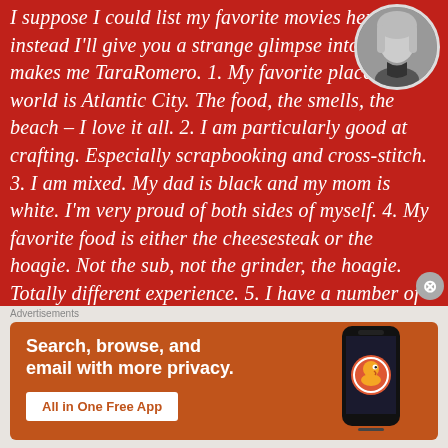I suppose I could list my favorite movies here, but instead I'll give you a strange glimpse into what makes me TaraRomero. 1. My favorite place in the world is Atlantic City. The food, the smells, the beach – I love it all. 2. I am particularly good at crafting. Especially scrapbooking and cross-stitch. 3. I am mixed. My dad is black and my mom is white. I'm very proud of both sides of myself. 4. My favorite food is either the cheesesteak or the hoagie. Not the sub, not the grinder, the hoagie. Totally different experience. 5. I have a number of pen pals I write snail mail to. We exchange
[Figure (photo): Circular profile photo of a person with light hair against a light background, black and white style]
[Figure (infographic): DuckDuckGo advertisement banner: orange/brown background with text 'Search, browse, and email with more privacy.' and 'All in One Free App' button, alongside a smartphone image with DuckDuckGo logo and branding]